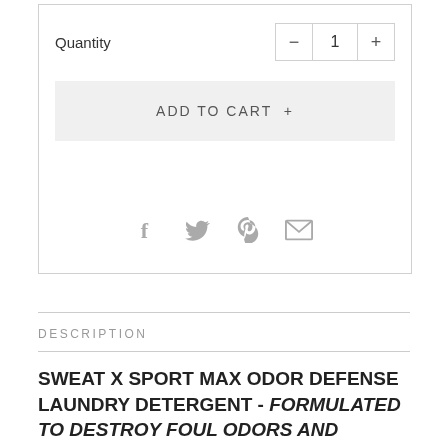Quantity
ADD TO CART +
[Figure (infographic): Social sharing icons: Facebook, Twitter, Pinterest, Email]
DESCRIPTION
SWEAT X SPORT MAX ODOR DEFENSE LAUNDRY DETERGENT - FORMULATED TO DESTROY FOUL ODORS AND TOUGH STAINS.